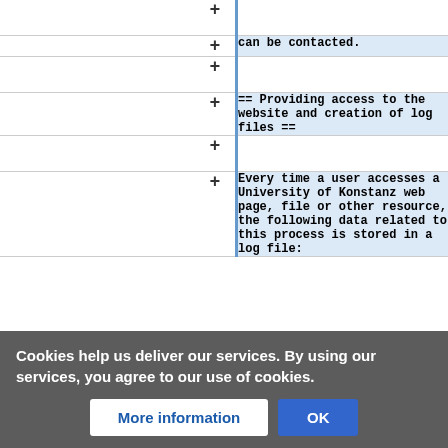|  | + |  |
|  | + | can be contacted. |
|  | + |  |
|  | + | == Providing access to the website and creation of log files == |
|  | + |  |
|  | + | Every time a user accesses a University of Konstanz web page, file or other resource, the following data related to this process is stored in a log file: |
Cookies help us deliver our services. By using our services, you agree to our use of cookies.
More information
OK